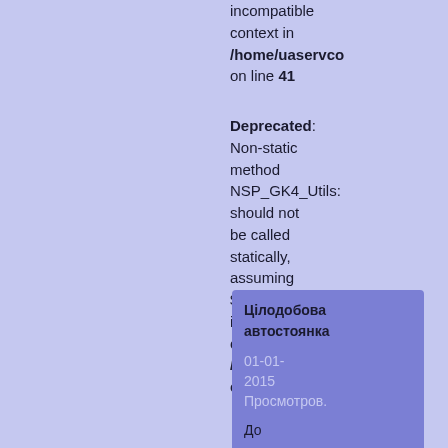incompatible context in /home/uaservco on line 41
Deprecated: Non-static method NSP_GK4_Utils: should not be called statically, assuming $this from incompatible context in /home/uaservco on line 71
Цілодобова автостоянка
01-01-2015
Просмотров.
До